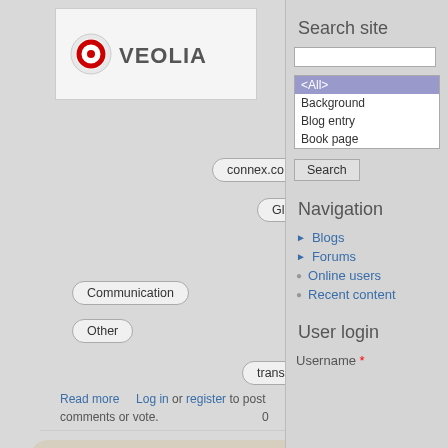[Figure (logo): Veolia logo with red circular icon and uppercase VEOLIA text]
connex.co.il
veolia.com
Gloss
Drop shadow
Transparent PNG
Communication
Maps/Directions
Other
transportation
veolia
Read more   Log in or register to post comments or vote.   0   0 votes
aport, aport.ru
konfuzius —Sat, 07/11/2009 - 22:55
Logos:
[Figure (logo): Aport logo — АПОРТ text in blue/orange with Cyrillic tagline]
Search site
Navigation
Blogs
Forums
Online users
Recent content
User login
Username *